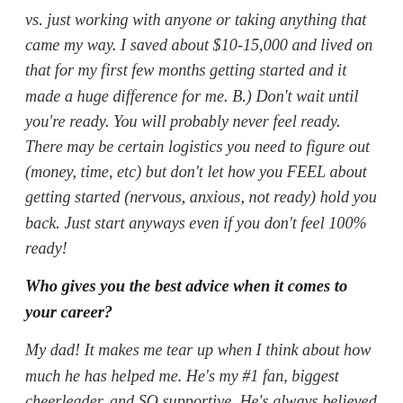vs. just working with anyone or taking anything that came my way. I saved about $10-15,000 and lived on that for my first few months getting started and it made a huge difference for me. B.) Don't wait until you're ready. You will probably never feel ready. There may be certain logistics you need to figure out (money, time, etc) but don't let how you FEEL about getting started (nervous, anxious, not ready) hold you back. Just start anyways even if you don't feel 100% ready!
Who gives you the best advice when it comes to your career?
My dad! It makes me tear up when I think about how much he has helped me. He's my #1 fan, biggest cheerleader, and SO supportive. He's always believed in me especially when i've had a hard time believing in myself! He's been in...